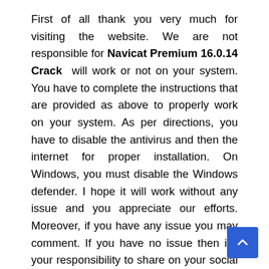First of all thank you very much for visiting the website. We are not responsible for Navicat Premium 16.0.14 Crack will work or not on your system. You have to complete the instructions that are provided as above to properly work on your system. As per directions, you have to disable the antivirus and then the internet for proper installation. On Windows, you must disable the Windows defender. I hope it will work without any issue and you appreciate our efforts. Moreover, if you have any issue you may comment. If you have no issue then it’s your responsibility to share on your social account for your friends and community.